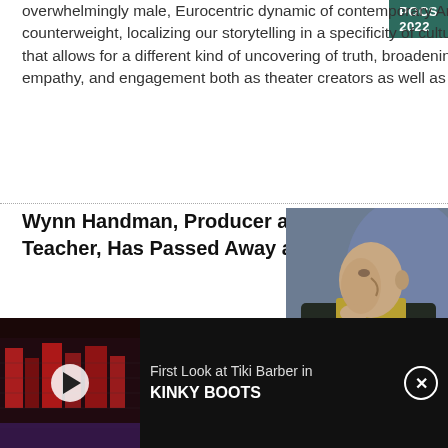POCS 2022
overwhelmingly male, Eurocentric dynamic of contemporary American theater to provide a counterweight, localizing our storytelling in a specificity of culture/race, class, gender, and sexuality that allows for a different kind of uncovering of truth, broadening the scope of our understanding, empathy, and engagement both as theater creators as well as theater consumers.
Wynn Handman, Producer and Acting Teacher, Has Passed Away at 97
by Chloe Rabinowitz - Apr 14, 2020
[Figure (photo): Photo of elderly man in profile, hand raised to chin, wearing dark jacket, against a blue/purple lit background]
Wynn Handman, the famed New York acting teacher and Artistic Director of The American Place Theatre, died at home April 11, 2020 of Covid-19 related pneumonia. He was 97.
[Figure (screenshot): Video player thumbnail showing a theatrical stage set with red and black geometric set pieces. Overlay shows play button. Title reads: First Look at Tiki Barber in KINKY BOOTS]